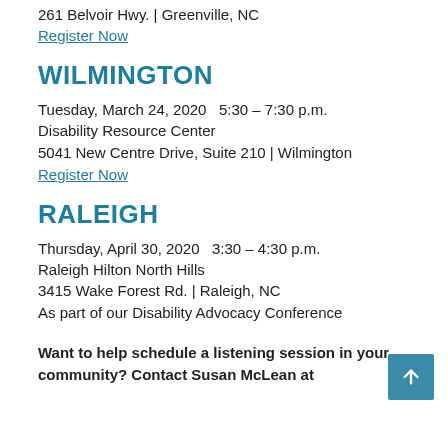261 Belvoir Hwy. | Greenville, NC
Register Now
WILMINGTON
Tuesday, March 24, 2020   5:30 – 7:30 p.m.
Disability Resource Center
5041 New Centre Drive, Suite 210 | Wilmington
Register Now
RALEIGH
Thursday, April 30, 2020   3:30 – 4:30 p.m.
Raleigh Hilton North Hills
3415 Wake Forest Rd. | Raleigh, NC
As part of our Disability Advocacy Conference
Want to help schedule a listening session in your community? Contact Susan McLean at